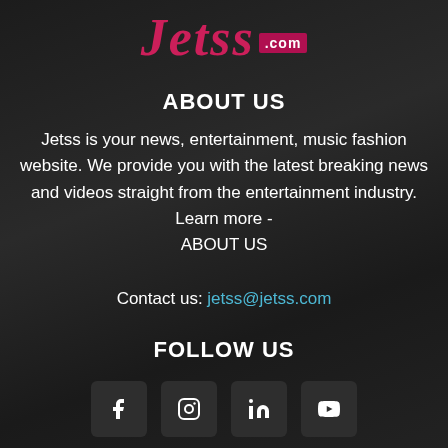[Figure (logo): Jetss.com logo with pink/red italic serif text and .com in a dark pink box]
ABOUT US
Jetss is your news, entertainment, music fashion website. We provide you with the latest breaking news and videos straight from the entertainment industry. Learn more - ABOUT US
Contact us: jetss@jetss.com
FOLLOW US
[Figure (illustration): Four social media icons: Facebook, Instagram, LinkedIn, YouTube in dark rounded square boxes]